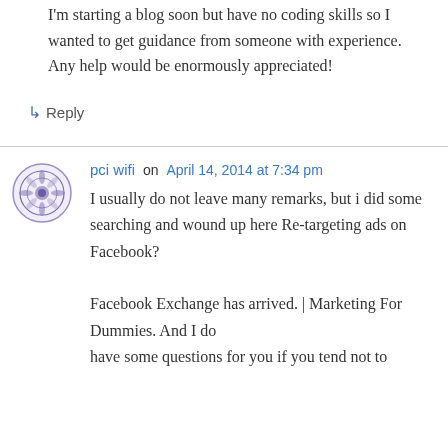I'm starting a blog soon but have no coding skills so I wanted to get guidance from someone with experience. Any help would be enormously appreciated!
↳ Reply
pci wifi on April 14, 2014 at 7:34 pm
I usually do not leave many remarks, but i did some searching and wound up here Re-targeting ads on Facebook?
Facebook Exchange has arrived. | Marketing For Dummies. And I do have some questions for you if you tend not to